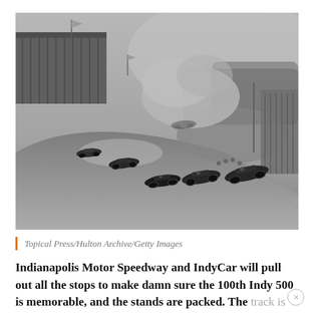[Figure (photo): Historic black-and-white photograph of early racing cars on a banked track at Indianapolis Motor Speedway, with grandstands visible on the left, dust clouds in the background, and several open-wheel cars racing around the turn.]
Topical Press/Hulton Archive/Getty Images
Indianapolis Motor Speedway and IndyCar will pull out all the stops to make damn sure the 100th Indy 500 is memorable, and the stands are packed. The track is getting a massive facelift right now as part of its so-called Project 100. It should be remembered: